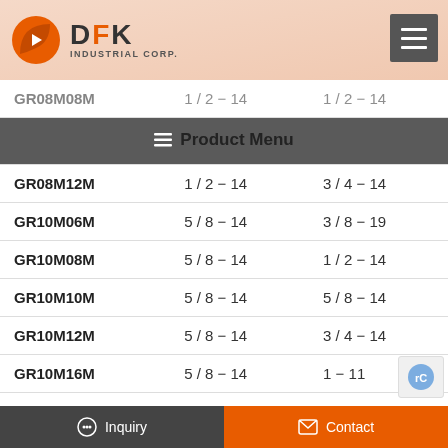DFK INDUSTRIAL CORP.
Product Menu
| Model | Col2 | Col3 |
| --- | --- | --- |
| GR08M08M | 1/2 – 14 | 1/2 – 14 |
| GR08M12M | 1/2 – 14 | 3/4 – 14 |
| GR10M06M | 5/8 – 14 | 3/8 – 19 |
| GR10M08M | 5/8 – 14 | 1/2 – 14 |
| GR10M10M | 5/8 – 14 | 5/8 – 14 |
| GR10M12M | 5/8 – 14 | 3/4 – 14 |
| GR10M16M | 5/8 – 14 | 1 – 11 |
| GR12M04M | 3/4 – 14 | 1/4 – 19 |
| GR12M06M | 3/4 – 14 | 3/8 – 19 |
Inquiry   Contact